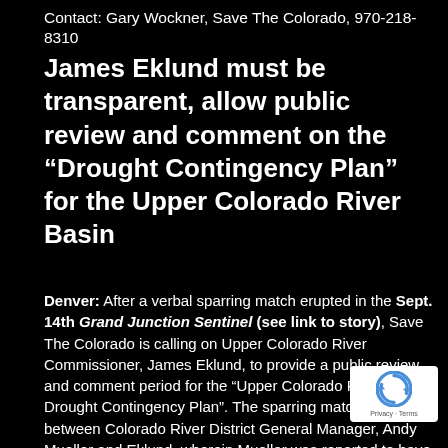Contact: Gary Wockner, Save The Colorado, 970-218-8310
James Eklund must be transparent, allow public review and comment on the “Drought Contingency Plan” for the Upper Colorado River Basin
Denver: After a verbal sparring match erupted in the Sept. 14th Grand Junction Sentinel (see link to story), Save The Colorado is calling on Upper Colorado River Commissioner, James Eklund, to provide a public review and comment period for the “Upper Colorado River Basin Drought Contingency Plan”. The sparring match was between Colorado River District General Manager, Andy Mueller and Eklund, wherein Mueller was reported to have said:
[Figure (logo): reCAPTCHA logo with Privacy and Terms text]